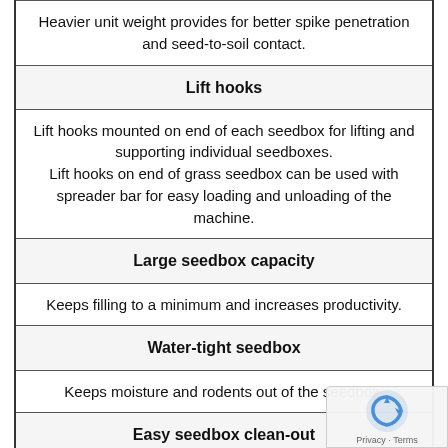Heavier unit weight provides for better spike penetration and seed-to-soil contact.
Lift hooks
Lift hooks mounted on end of each seedbox for lifting and supporting individual seedboxes.
Lift hooks on end of grass seedbox can be used with spreader bar for easy loading and unloading of the machine.
Large seedbox capacity
Keeps filling to a minimum and increases productivity.
Water-tight seedbox
Keeps moisture and rodents out of the seedbox.
Easy seedbox clean-out
Simply moving the flute lever to the proper posi...